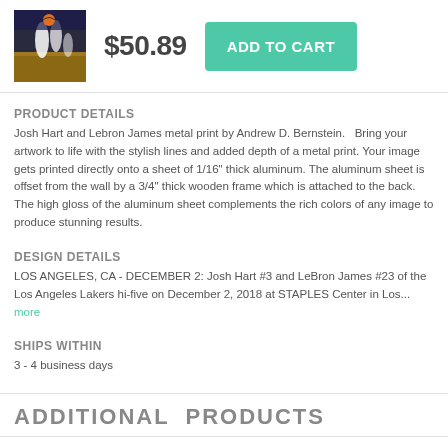[Figure (photo): Basketball game photo showing Josh Hart and LeBron James]
$50.89
ADD TO CART
PRODUCT DETAILS
Josh Hart and Lebron James metal print by Andrew D. Bernstein.   Bring your artwork to life with the stylish lines and added depth of a metal print. Your image gets printed directly onto a sheet of 1/16" thick aluminum. The aluminum sheet is offset from the wall by a 3/4" thick wooden frame which is attached to the back. The high gloss of the aluminum sheet complements the rich colors of any image to produce stunning results.
DESIGN DETAILS
LOS ANGELES, CA - DECEMBER 2: Josh Hart #3 and LeBron James #23 of the Los Angeles Lakers hi-five on December 2, 2018 at STAPLES Center in Los... more
SHIPS WITHIN
3 - 4 business days
ADDITIONAL  PRODUCTS